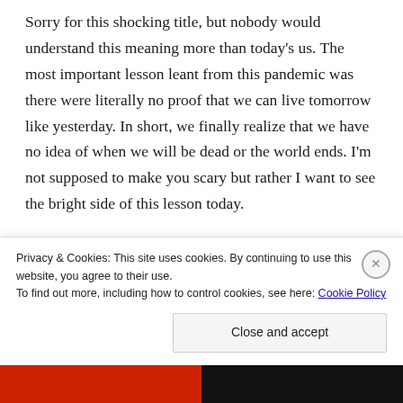Sorry for this shocking title, but nobody would understand this meaning more than today's us. The most important lesson leant from this pandemic was there were literally no proof that we can live tomorrow like yesterday. In short, we finally realize that we have no idea of when we will be dead or the world ends. I'm not supposed to make you scary but rather I want to see the bright side of this lesson today.

People often say and be told that you should do what you want to do. But, how many people can live like
Privacy & Cookies: This site uses cookies. By continuing to use this website, you agree to their use.
To find out more, including how to control cookies, see here: Cookie Policy

Close and accept